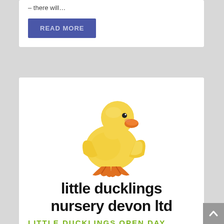– there will…
READ MORE
[Figure (logo): Little Ducklings Nursery Devon Ltd logo — cartoon yellow duckling standing upright with text 'little ducklings nursery devon ltd' in bold black handwritten-style font below]
LITTLE DUCKLINGS OPEN DAY